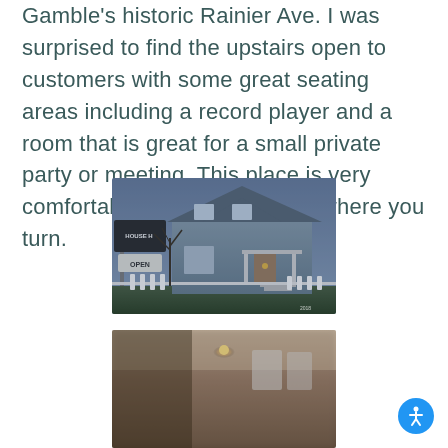Gamble's historic Rainier Ave. I was surprised to find the upstairs open to customers with some great seating areas including a record player and a room that is great for a small private party or meeting. This place is very comfortable and inviting everywhere you turn.
[Figure (photo): Exterior photo of House H, a two-story gray craftsman-style house with white trim and a white picket fence. A sign in the front yard shows 'House H' logo and 'OPEN'. The photo is taken at dusk with a blue-gray sky.]
[Figure (photo): Partially visible interior photo, blurred, showing what appears to be a room with a light fixture on the ceiling and windows in the background.]